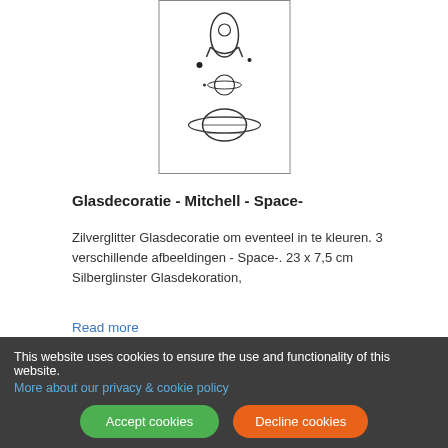[Figure (illustration): Line drawing of space-themed glass decoration showing rocket, planets with rings, and celestial objects on a white background with border]
Glasdecoratie - Mitchell - Space-
Zilverglitter Glasdecoratie om eventeel in te kleuren. 3 verschillende afbeeldingen - Space-. 23 x 7,5 cm Silberglinster Glasdekoration,
Read more
€ 0,25
This website uses cookies to ensure the use and functionality of this website.
More about our privacy & cookie policy